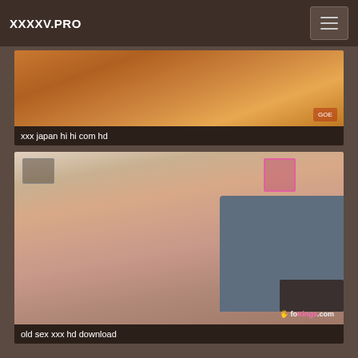XXXXV.PRO
[Figure (photo): Video thumbnail showing warm orange/brown tones, partial view of a scene]
xxx japan hi hi com hd
[Figure (photo): Video thumbnail showing people in a living room with a gray sofa, watermark foKings.com]
old sex xxx hd download